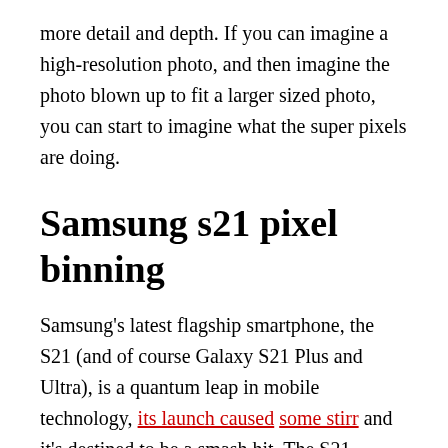more detail and depth. If you can imagine a high-resolution photo, and then imagine the photo blown up to fit a larger sized photo, you can start to imagine what the super pixels are doing.
Samsung s21 pixel binning
Samsung's latest flagship smartphone, the S21 (and of course Galaxy S21 Plus and Ultra), is a quantum leap in mobile technology, its launch caused some stirr and it's destined to be a smash hit. The S21 features a revolutionary new camera system that can detect faces and other key subjects in a photo.
The new camera also has a special secret: it can